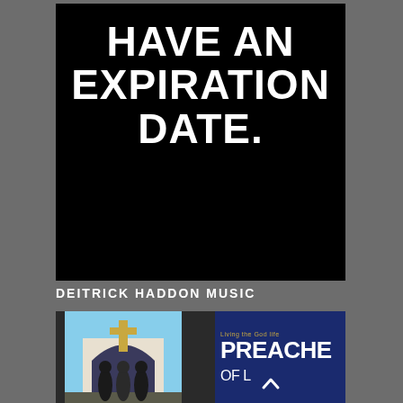[Figure (illustration): Black background image with bold white text reading 'HAVE AN EXPIRATION DATE.' in large uppercase letters]
DEITRICK HADDON MUSIC
[Figure (photo): Photo showing a church with arch and cross, people standing in front, and text 'Living the God life PREACHERS of L.A.' on a dark blue background on the right side]